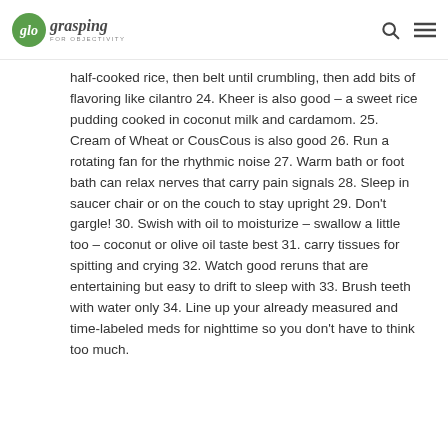glo grasping FOR OBJECTIVITY
half-cooked rice, then belt until crumbling, then add bits of flavoring like cilantro 24. Kheer is also good – a sweet rice pudding cooked in coconut milk and cardamom. 25. Cream of Wheat or CousCous is also good 26. Run a rotating fan for the rhythmic noise 27. Warm bath or foot bath can relax nerves that carry pain signals 28. Sleep in saucer chair or on the couch to stay upright 29. Don't gargle! 30. Swish with oil to moisturize – swallow a little too – coconut or olive oil taste best 31. carry tissues for spitting and crying 32. Watch good reruns that are entertaining but easy to drift to sleep with 33. Brush teeth with water only 34. Line up your already measured and time-labeled meds for nighttime so you don't have to think too much.